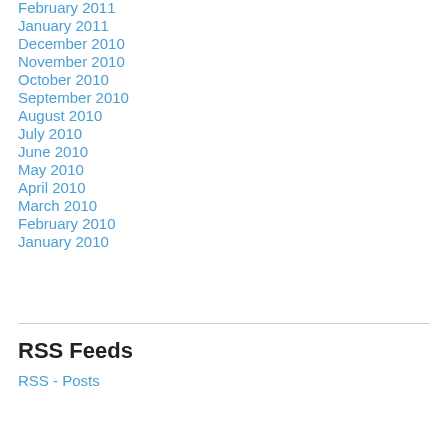February 2011
January 2011
December 2010
November 2010
October 2010
September 2010
August 2010
July 2010
June 2010
May 2010
April 2010
March 2010
February 2010
January 2010
RSS Feeds
RSS - Posts